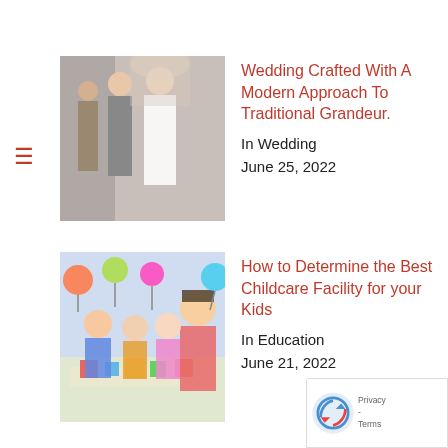[Figure (photo): Wedding photo showing a bride and groom with other people]
Wedding Crafted With A Modern Approach To Traditional Grandeur.
In Wedding
June 25, 2022
[Figure (photo): Children with a teacher or caregiver at a table, colorful activity]
How to Determine the Best Childcare Facility for your Kids
In Education
June 21, 2022
[Figure (photo): Person using a laptop with Digital Marketing text on screen]
An Overview Of Digital Marketing And Its Applications.
In Technology
June 14, 2022
[Figure (photo): Person wearing a mask, possibly in a lab or scientific setting]
4 Jobs You Didn't Know Scientists Perform
In Education
June 7, 2022